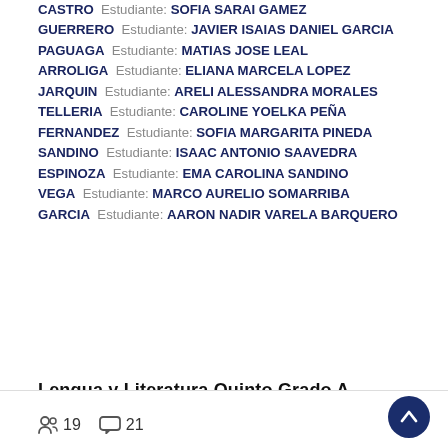CASTRO  Estudiante: SOFIA SARAI GAMEZ GUERRERO  Estudiante: JAVIER ISAIAS DANIEL GARCIA PAGUAGA  Estudiante: MATIAS JOSE LEAL ARROLIGA  Estudiante: ELIANA MARCELA LOPEZ JARQUIN  Estudiante: ARELI ALESSANDRA MORALES TELLERIA  Estudiante: CAROLINE YOELKA PEÑA FERNANDEZ  Estudiante: SOFIA MARGARITA PINEDA SANDINO  Estudiante: ISAAC ANTONIO SAAVEDRA ESPINOZA  Estudiante: EMA CAROLINA SANDINO VEGA  Estudiante: MARCO AURELIO SOMARRIBA GARCIA  Estudiante: AARON NADIR VARELA BARQUERO
Lengua y Literatura Quinto Grado A
19  21